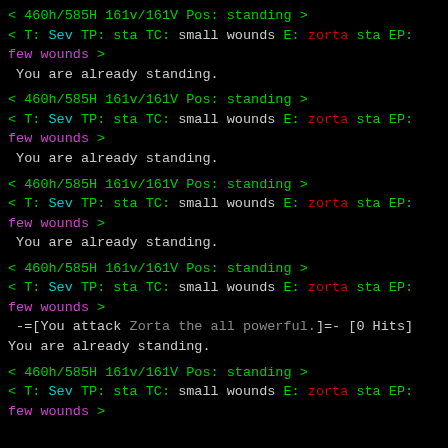< 460h/585H 161v/161V Pos: standing >
< T: Sev TP: sta TC: small wounds E: zorta sta EP: few wounds >
You are already standing.
< 460h/585H 161v/161V Pos: standing >
< T: Sev TP: sta TC: small wounds E: zorta sta EP: few wounds >
You are already standing.
< 460h/585H 161v/161V Pos: standing >
< T: Sev TP: sta TC: small wounds E: zorta sta EP: few wounds >
You are already standing.
< 460h/585H 161v/161V Pos: standing >
< T: Sev TP: sta TC: small wounds E: zorta sta EP: few wounds >
-=[You attack Zorta the all powerful.]=- [0 Hits]
You are already standing.
< 460h/585H 161v/161V Pos: standing >
< T: Sev TP: sta TC: small wounds E: zorta sta EP: few wounds >